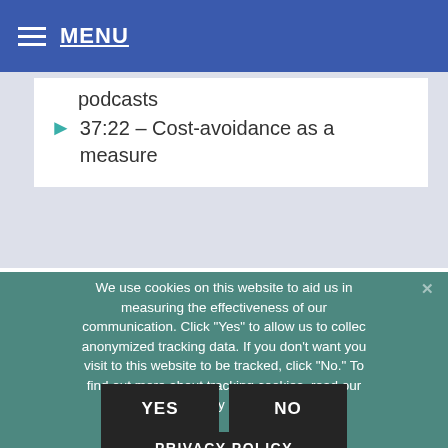MENU
podcasts
37:22 – Cost-avoidance as a measure
We use cookies on this website to aid us in measuring the effectiveness of our communication. Click "Yes" to allow us to collect anonymized tracking data. If you don't want your visit to this website to be tracked, click "No." To find out more about tracking cookies, read our Privacy Policy.
YES
NO
PRIVACY POLICY